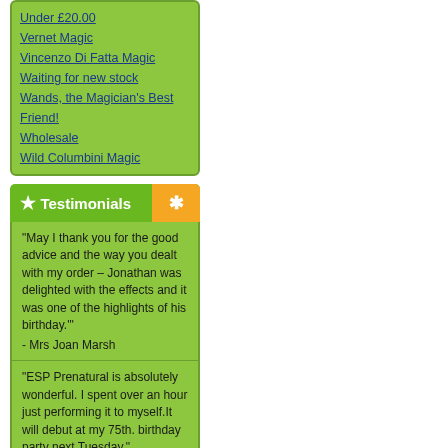Under £20.00
Vernet Magic
Vincenzo Di Fatta Magic
Waiting for new stock
Wands, the Magician's Best Friend!
Wholesale
Wild Columbini Magic
Testimonials
"May I thank you for the good advice and the way you dealt with my order – Jonathan was delighted with the effects and it was one of the highlights of his birthday."
- Mrs Joan Marsh
"ESP Prenatural is absolutely wonderful. I spent over an hour just performing it to myself.It will debut at my 75th. birthday party next Tuesday."
- Allen Tipton
"Many thanks for another fascinating 'start of season' catalogue. I am still amazed how you keep coming up with